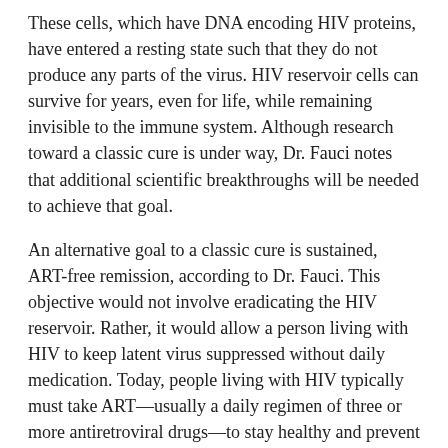These cells, which have DNA encoding HIV proteins, have entered a resting state such that they do not produce any parts of the virus. HIV reservoir cells can survive for years, even for life, while remaining invisible to the immune system. Although research toward a classic cure is under way, Dr. Fauci notes that additional scientific breakthroughs will be needed to achieve that goal.
An alternative goal to a classic cure is sustained, ART-free remission, according to Dr. Fauci. This objective would not involve eradicating the HIV reservoir. Rather, it would allow a person living with HIV to keep latent virus suppressed without daily medication. Today, people living with HIV typically must take ART—usually a daily regimen of three or more antiretroviral drugs—to stay healthy and prevent transmitting the virus to others.
Scientists are taking two broad approaches toward ART-free remission, Dr. Fauci will explain. One approach consists of intermittent or continual non-ART interventions, while the other involves stimulating the immune system to independently exert